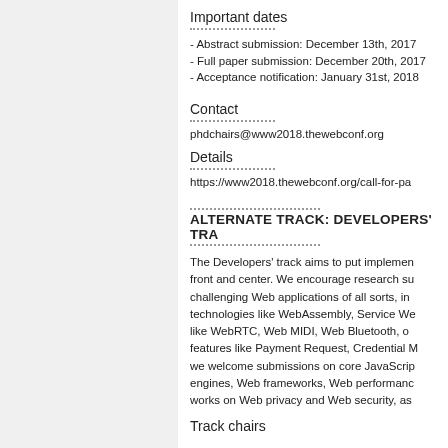Important dates
- Abstract submission: December 13th, 2017
- Full paper submission: December 20th, 2017
- Acceptance notification: January 31st, 2018
Contact
phdchairs@www2018.thewebconf.org
Details
https://www2018.thewebconf.org/call-for-pa
ALTERNATE TRACK: DEVELOPERS' TRACK
The Developers' track aims to put implementation front and center. We encourage research surrounding challenging Web applications of all sorts, including technologies like WebAssembly, Service Workers, APIs like WebRTC, Web MIDI, Web Bluetooth, or browser features like Payment Request, Credential Management; we welcome submissions on core JavaScript engines, Web frameworks, Web performance, and works on Web privacy and Web security, as
Track chairs